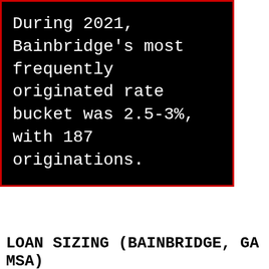During 2021, Bainbridge's most frequently originated rate bucket was 2.5-3%, with 187 originations.
LOAN SIZING (BAINBRIDGE, GA MSA)